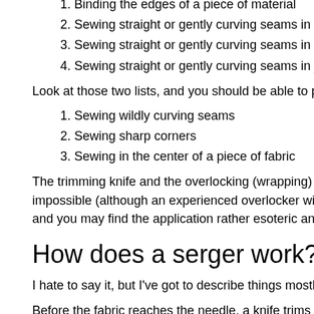1. Binding the edges of a piece of material
2. Sewing straight or gently curving seams in stretchy material
3. Sewing straight or gently curving seams in material that frays easily
4. Sewing straight or gently curving seams in just about anything
Look at those two lists, and you should be able to puzzle out what sergers are not good at:
1. Sewing wildly curving seams
2. Sewing sharp corners
3. Sewing in the center of a piece of fabric
The trimming knife and the overlocking (wrapping) function both make extremely sharp corners nearly impossible (although an experienced overlocker will tell you there are myriad workarounds), and you may find the application rather esoteric and less exciting than the information here.
How does a serger work?
I hate to say it, but I've got to describe things mostly in terms of voodoo.
Before the fabric reaches the needle, a knife trims the edge of the fabric.
One, two, or three needles carry the top (or needle) threads. They oscilla-